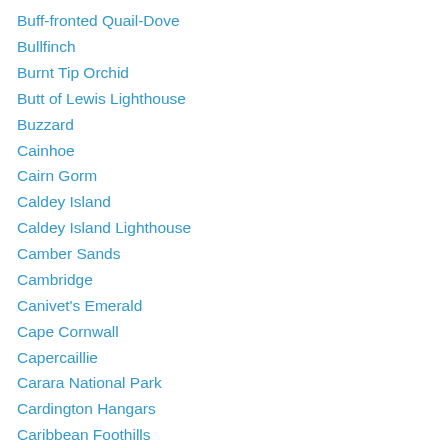Buff-fronted Quail-Dove
Bullfinch
Burnt Tip Orchid
Butt of Lewis Lighthouse
Buzzard
Cainhoe
Cairn Gorm
Caldey Island
Caldey Island Lighthouse
Camber Sands
Cambridge
Canivet's Emerald
Cape Cornwall
Capercaillie
Carara National Park
Cardington Hangars
Caribbean Foothills
Caribbean Lowlands
Carr Vale Nature Reserve
Caspian Gull